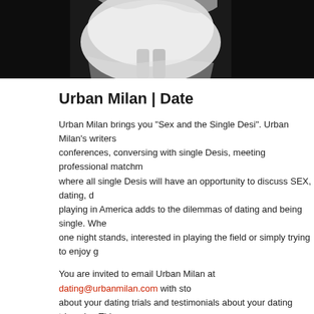[Figure (photo): Black and white photo of a woman in a white dress, cropped to show lower body, against dark background]
Urban Milan | Date
Urban Milan brings you "Sex and the Single Desi". Urban Milan's writers attended conferences, conversing with single Desis, meeting professional matchmakers, where all single Desis will have an opportunity to discuss SEX, dating, d... playing in America adds to the dilemmas of dating and being single. Whe... one night stands, interested in playing the field or simply trying to enjoy g...
You are invited to email Urban Milan at dating@urbanmilan.com with sto... about your dating trials and testimonials about your dating triumphs. This...
[Figure (illustration): Cartoon illustration of an animated South Asian woman with dark hair, wearing a yellow strapless dress, posed against a purple background with gold decorative elements]
Urban Desi is your NYC girl. She is bold, confiden... in her 30's and is in the Desi dating scene. Urban Desi gains her experience from reading dating books, attending dating workshops, conferences, conversing with single Desis, meetin...